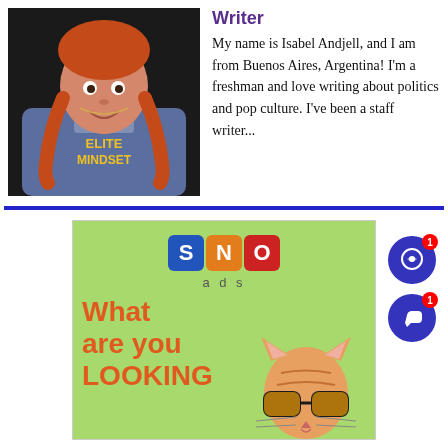[Figure (photo): Young woman with red braided hair wearing a blue 'ELITE MINDSET' sweatshirt, smiling in front of a dark background]
Writer
My name is Isabel Andjell, and I am from Buenos Aires, Argentina! I'm a freshman and love writing about politics and pop culture. I've been a staff writer...
[Figure (infographic): SNO ads promotional banner with a cat wearing sunglasses and text 'What are you LOOKING']